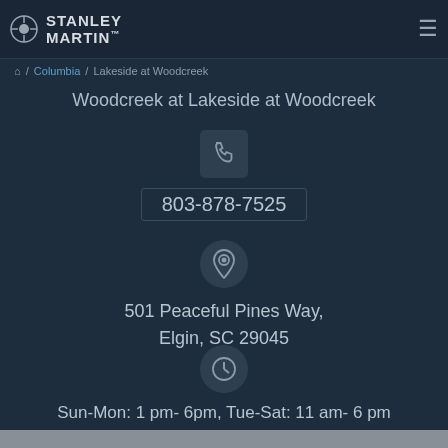STANLEY MARTIN™
/ Columbia / Lakeside at Woodcreek
Woodcreek at Lakeside at Woodcreek
803-878-7525
501 Peaceful Pines Way, Elgin, SC 29045
Sun-Mon: 1 pm- 6pm, Tue-Sat: 11 am- 6 pm